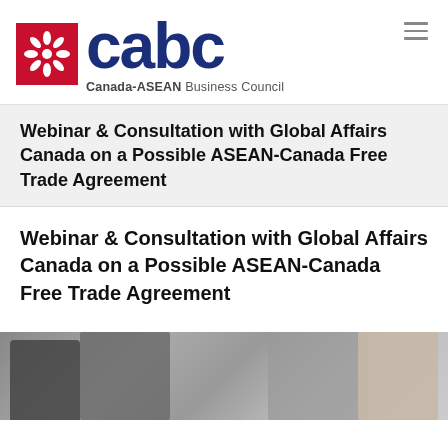[Figure (logo): CABC (Canada-ASEAN Business Council) logo with red maple leaf icon and large dark blue 'cabc' text, subtitle 'Canada-ASEAN Business Council']
Webinar & Consultation with Global Affairs Canada on a Possible ASEAN-Canada Free Trade Agreement
Webinar & Consultation with Global Affairs Canada on a Possible ASEAN-Canada Free Trade Agreement
[Figure (photo): Photo of people sitting together, appears to be a meeting or consultation scene with dark and light clothing]